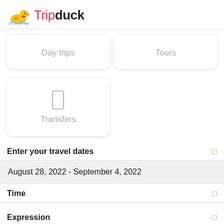[Figure (logo): Tripduck logo with yellow rubber duck SVG and 'Tripduck' text in red and black]
Day trips
Tours
Transfers
Enter your travel dates
August 28, 2022 - September 4, 2022
Time
Expression